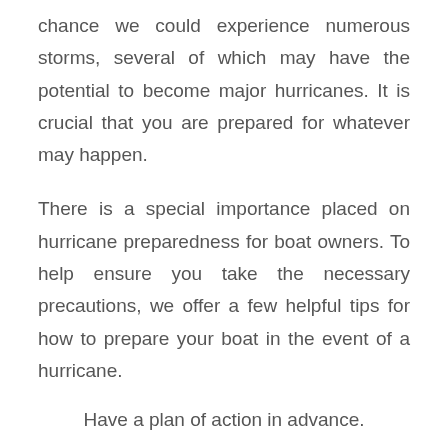chance we could experience numerous storms, several of which may have the potential to become major hurricanes. It is crucial that you are prepared for whatever may happen.
There is a special importance placed on hurricane preparedness for boat owners. To help ensure you take the necessary precautions, we offer a few helpful tips for how to prepare your boat in the event of a hurricane.
Have a plan of action in advance.
Boats remaining in a marina: Double all lines and attach them